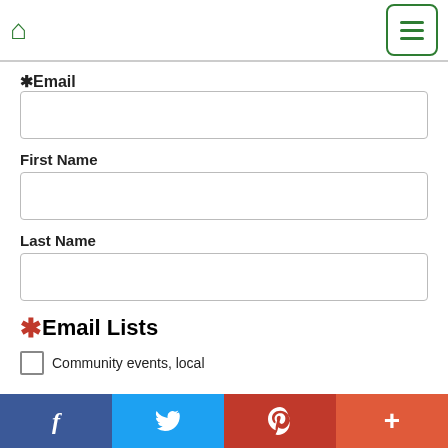Home | Menu
* Email
[Figure (other): Empty text input field for Email]
First Name
[Figure (other): Empty text input field for First Name]
Last Name
[Figure (other): Empty text input field for Last Name]
* Email Lists
Community events, local
f  (Twitter bird)  (Pinterest P)  +